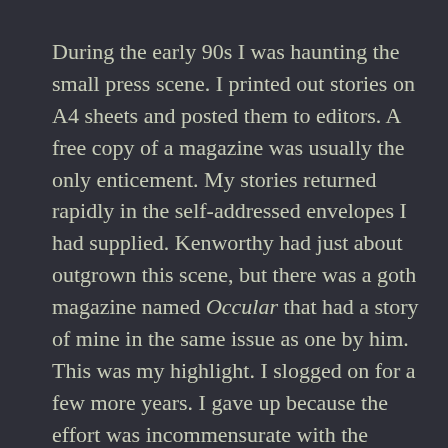During the early 90s I was haunting the small press scene. I printed out stories on A4 sheets and posted them to editors. A free copy of a magazine was usually the only enticement. My stories returned rapidly in the self-addressed envelopes I had supplied. Kenworthy had just about outgrown this scene, but there was a goth magazine named Occular that had a story of mine in the same issue as one by him. This was my highlight. I slogged on for a few more years. I gave up because the effort was incommensurate with the returns. That, and a lack of talent.

Kenworthy had emigrated to Australia and